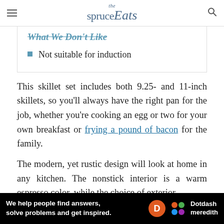the spruce Eats
What We Don't Like
Not suitable for induction
This skillet set includes both 9.25- and 11-inch skillets, so you'll always have the right pan for the job, whether you're cooking an egg or two for your own breakfast or frying a pound of bacon for the family.
The modern, yet rustic design will look at home in any kitchen. The nonstick interior is a warm espresso color, while the choice of exterior
[Figure (other): Dotdash Meredith advertisement banner: black background with text 'We help people find answers, solve problems and get inspired.' with Dotdash Meredith logo]